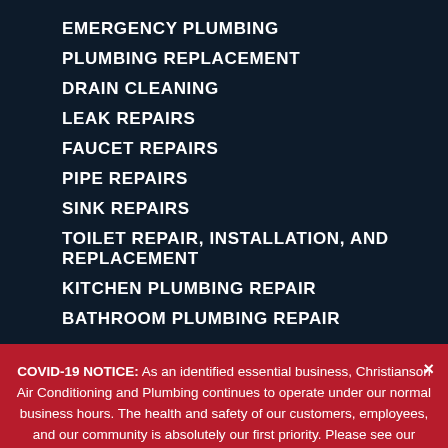EMERGENCY PLUMBING
PLUMBING REPLACEMENT
DRAIN CLEANING
LEAK REPAIRS
FAUCET REPAIRS
PIPE REPAIRS
SINK REPAIRS
TOILET REPAIR, INSTALLATION, AND REPLACEMENT
KITCHEN PLUMBING REPAIR
BATHROOM PLUMBING REPAIR
COVID-19 NOTICE: As an identified essential business, Christianson Air Conditioning and Plumbing continues to operate under our normal business hours. The health and safety of our customers, employees, and our community is absolutely our first priority. Please see our safety guidelines HERE.